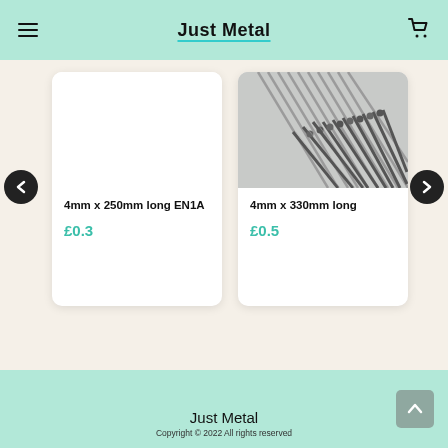Just Metal
[Figure (photo): White/blank product image for 4mm x 250mm long EN1A steel rod]
4mm x 250mm long EN1A
£0.3
[Figure (photo): Photo of metal steel rods/bars bundled together, 4mm x 330mm long]
4mm x 330mm long
£0.5
Just Metal
Copyright © 2022 All rights reserved